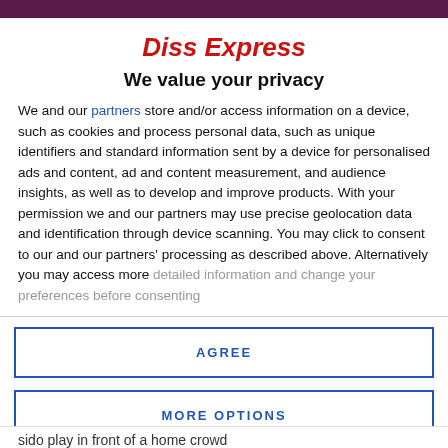Diss Express
We value your privacy
We and our partners store and/or access information on a device, such as cookies and process personal data, such as unique identifiers and standard information sent by a device for personalised ads and content, ad and content measurement, and audience insights, as well as to develop and improve products. With your permission we and our partners may use precise geolocation data and identification through device scanning. You may click to consent to our and our partners' processing as described above. Alternatively you may access more detailed information and change your preferences before consenting
AGREE
MORE OPTIONS
sido play in front of a home crowd